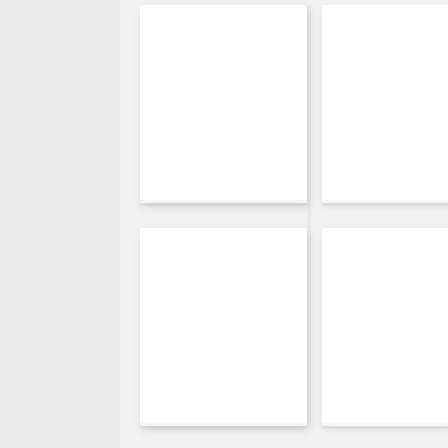[Figure (illustration): Layout mockup showing a gray left sidebar panel and a grid of white rectangular cards arranged in two columns and three rows, all with drop shadows, on a light gray background. The cards are blank white rectangles representing placeholders.]